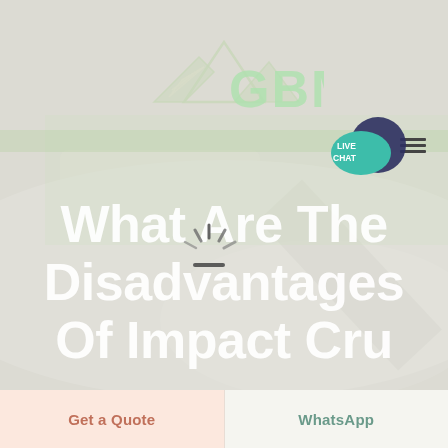[Figure (logo): GBM company logo with mountain and paper airplane graphic, white/light green colors on gray background]
[Figure (illustration): Live Chat speech bubble icon in teal/dark blue colors with text LIVE CHAT]
What Are The Disadvantages Of Impact Cru
[Figure (illustration): Loading spinner / animation icon centered over the title text]
Get a Quote
WhatsApp